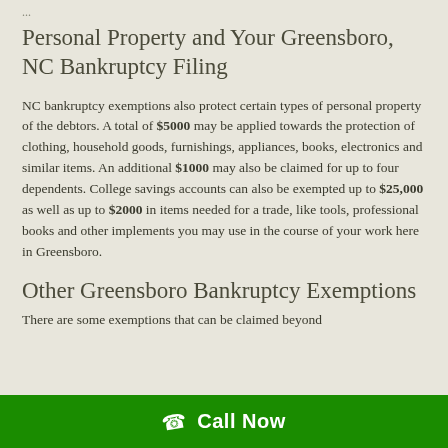Personal Property and Your Greensboro, NC Bankruptcy Filing
NC bankruptcy exemptions also protect certain types of personal property of the debtors. A total of $5000 may be applied towards the protection of clothing, household goods, furnishings, appliances, books, electronics and similar items. An additional $1000 may also be claimed for up to four dependents. College savings accounts can also be exempted up to $25,000 as well as up to $2000 in items needed for a trade, like tools, professional books and other implements you may use in the course of your work here in Greensboro.
Other Greensboro Bankruptcy Exemptions
There...
Call Now